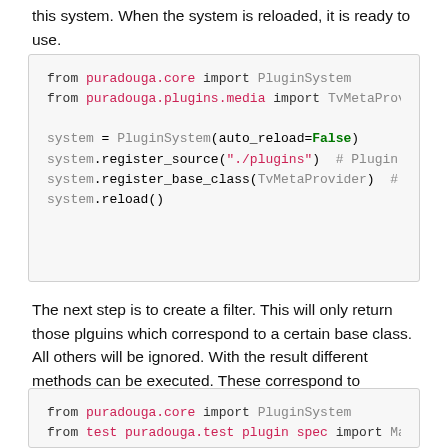this system. When the system is reloaded, it is ready to use.
[Figure (screenshot): Code block showing Python imports and PluginSystem setup with auto_reload=False, register_source, register_base_class, and reload calls.]
The next step is to create a filter. This will only return those plguins which correspond to a certain base class. All others will be ignored. With the result different methods can be executed. These correspond to different strategies to execute the plugins. Depending on the method, you can sprint time because not all plugins have to be executed.
[Figure (screenshot): Code block showing Python imports: from puradouga.core import PluginSystem and from test puradouga.test plugin spec import MathPl]